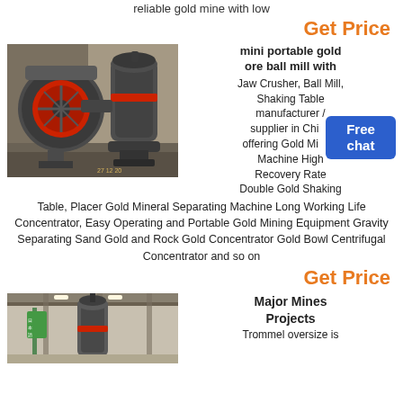reliable gold mine with low
Get Price
[Figure (photo): Industrial gold mining machinery: a large blower/fan with red intake and a vertical ball mill, photographed inside a mine or quarry with rocky walls in background. Timestamp 27-12-20 visible.]
mini portable gold ore ball mill with Jaw Crusher, Ball Mill, Shaking Table manufacturer / supplier in Chi... offering Gold Mi... Machine High Recovery Rate Double Gold Shaking Table, Placer Gold Mineral Separating Machine Long Working Life Concentrator, Easy Operating and Portable Gold Mining Equipment Gravity Separating Sand Gold and Rock Gold Concentrator Gold Bowl Centrifugal Concentrator and so on
Get Price
[Figure (photo): Industrial mining equipment inside a factory/warehouse: a vertical cylindrical machine (likely a ball mill or concentrator) suspended from ceiling structure with overhead lighting.]
Major Mines Projects
Trommel oversize is